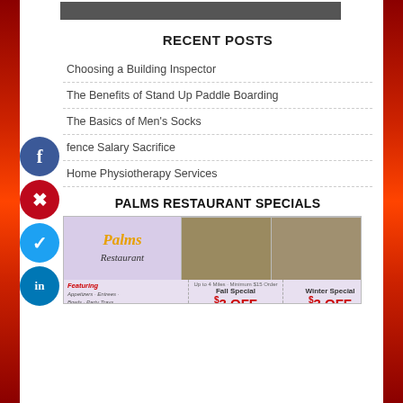[Figure (photo): Top image strip showing a partial photo (appears to be a face/person)]
RECENT POSTS
Choosing a Building Inspector
The Benefits of Stand Up Paddle Boarding
The Basics of Men's Socks
fence Salary Sacrifice
Home Physiotherapy Services
PALMS RESTAURANT SPECIALS
[Figure (photo): Palms Restaurant advertisement image with logo, food photos, and discount coupons showing Fall Special $3 OFF and Winter Special $3 OFF]